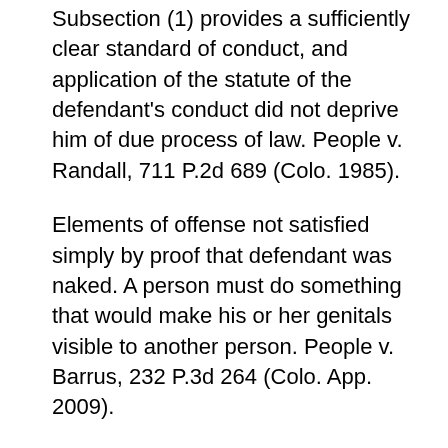Subsection (1) provides a sufficiently clear standard of conduct, and application of the statute of the defendant's conduct did not deprive him of due process of law. People v. Randall, 711 P.2d 689 (Colo. 1985).
Elements of offense not satisfied simply by proof that defendant was naked. A person must do something that would make his or her genitals visible to another person. People v. Barrus, 232 P.3d 264 (Colo. App. 2009).
Subsection (4) is a sentence enhancer, not a substantive offense. Therefore, the prosecution must prove the prior convictions to the court, not the jury. The burden of proof to the court is preponderance of the evidence. People v. Schreiber, 226 P.3d 1221 (Colo. App.